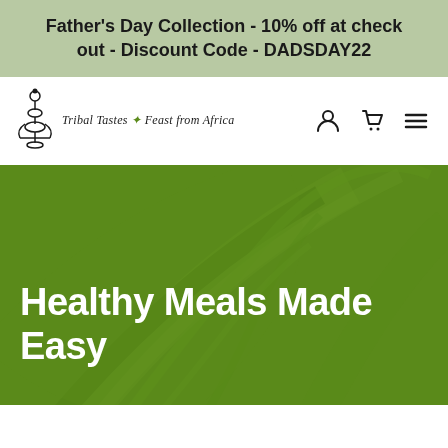Father's Day Collection - 10% off at check out - Discount Code - DADSDAY22
[Figure (logo): Tribal Tastes Feast from Africa logo with decorative African motif icon]
[Figure (screenshot): Hero banner with green leaf background and white bold text reading Healthy Meals Made Easy]
Healthy Meals Made Easy